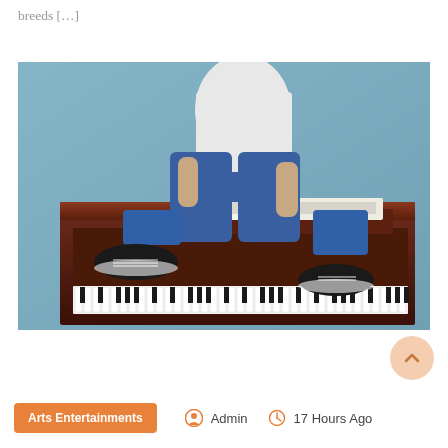breeds […]
[Figure (photo): A person wearing blue jeans and black sneakers sitting on top of a dark brown upright piano, with an open sheet music book resting on the piano in front of them, against a blue-grey wall background.]
Arts Entertainments   Admin   17 Hours Ago